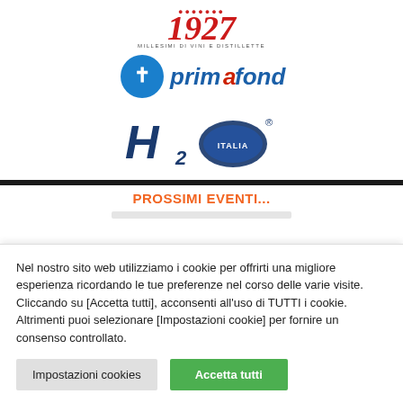[Figure (logo): 1927 vintage logo with red numerals and subtitle text 'MILLESIMI DI VINI E DISTILLETTE']
[Figure (logo): Primafond logo with blue circular icon and blue/red text 'primafond']
[Figure (logo): H2O Italia logo in dark blue stylized lettering with registered trademark symbol]
PROSSIMI EVENTI...
Nel nostro sito web utilizziamo i cookie per offrirti una migliore esperienza ricordando le tue preferenze nel corso delle varie visite. Cliccando su [Accetta tutti], acconsenti all'uso di TUTTI i cookie. Altrimenti puoi selezionare [Impostazioni cookie] per fornire un consenso controllato.